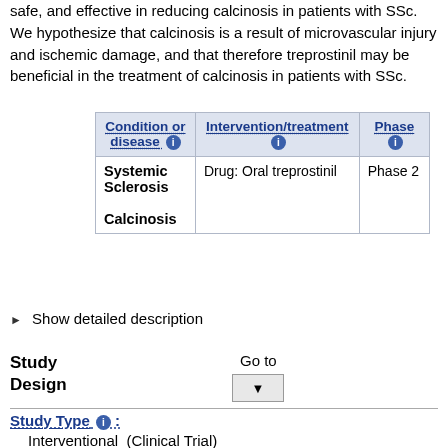safe, and effective in reducing calcinosis in patients with SSc. We hypothesize that calcinosis is a result of microvascular injury and ischemic damage, and that therefore treprostinil may be beneficial in the treatment of calcinosis in patients with SSc.
| Condition or disease ℹ | Intervention/treatment ℹ | Phase ℹ |
| --- | --- | --- |
| Systemic Sclerosis

Calcinosis | Drug: Oral treprostinil | Phase 2 |
▶ Show detailed description
Study Design
Go to
Study Type ℹ :
Interventional  (Clinical Trial)